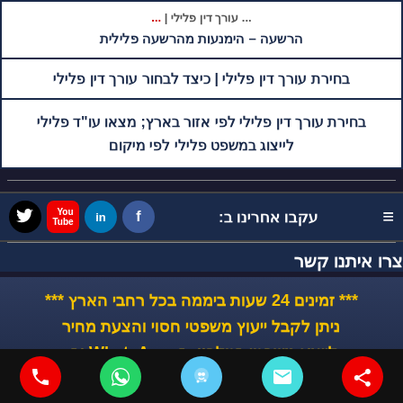הרשעה – הימנעות מהרשעה פלילית
בחירת עורך דין פלילי | כיצד לבחור עורך דין פלילי
בחירת עורך דין פלילי לפי אזור בארץ; מצאו עו"ד פלילי לייצוג במשפט פלילי לפי מיקום
עקבו אחרינו ב:
צרו איתנו קשר
*** זמינים 24 שעות ביממה בכל רחבי הארץ *** ניתן לקבל ייעוץ משפטי חסוי והצעת מחיר לייצוג משפטי בטלפון, ב- WhatsApp וב-